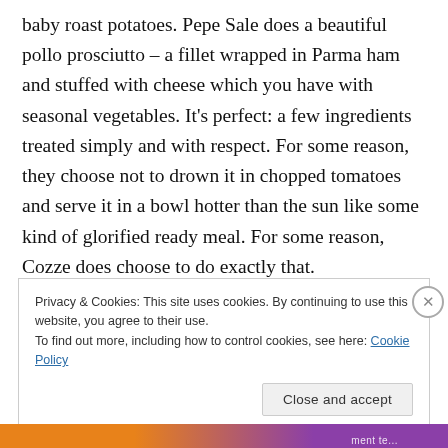baby roast potatoes. Pepe Sale does a beautiful pollo prosciutto – a fillet wrapped in Parma ham and stuffed with cheese which you have with seasonal vegetables. It's perfect: a few ingredients treated simply and with respect. For some reason, they choose not to drown it in chopped tomatoes and serve it in a bowl hotter than the sun like some kind of glorified ready meal. For some reason, Cozze does choose to do exactly that.
Privacy & Cookies: This site uses cookies. By continuing to use this website, you agree to their use.
To find out more, including how to control cookies, see here: Cookie Policy
Close and accept